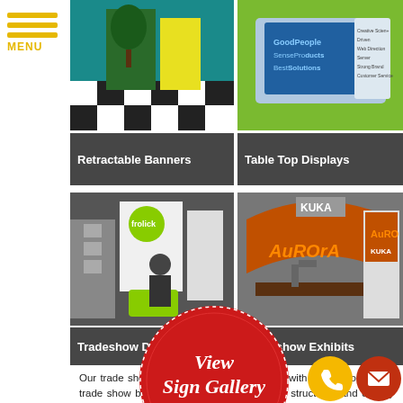[Figure (screenshot): Mobile website screenshot showing product category cards: Retractable Banners, Table Top Displays, Tradeshow Displays, Tradeshow Exhibits, with menu button, 'View Sign Gallery CLICK HERE' stamp overlay, and contact icons]
Our trade show exhibit designers can assist with all components of trade show booth design, including sourcing structures and display elements, as well as design and graphic elements. We are the only partner...